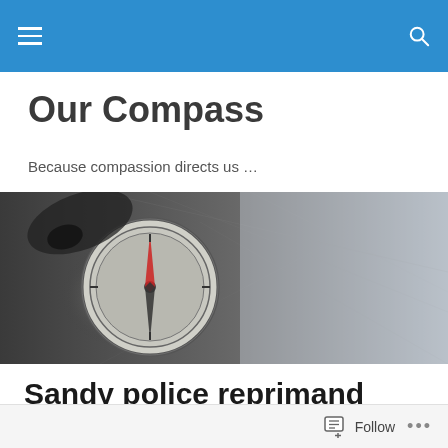Our Compass – site navigation bar
Our Compass
Because compassion directs us …
[Figure (photo): Black and white close-up photograph of a compass resting on a map]
Sandy police reprimand owners for picture of 'puppy piñata'
Follow